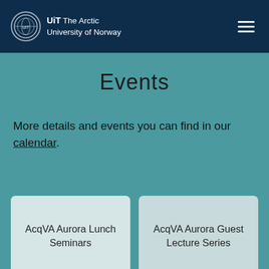UiT The Arctic University of Norway
Events
More details and events you can find in our calendar.
AcqVA Aurora Lunch Seminars
AcqVA Aurora Guest Lecture Series